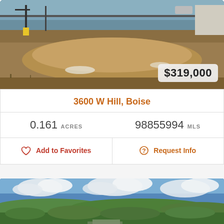[Figure (photo): Vacant land lot at street corner with brown dry grass, utility poles with yellow markers, street in background, white building on right edge. Price badge overlay showing $319,000.]
3600 W Hill, Boise
0.161 ACRES   98855994 MLS
Add to Favorites   Request Info
[Figure (photo): Panoramic aerial view of Boise area with green trees, blue sky with white clouds, and distant hills.]